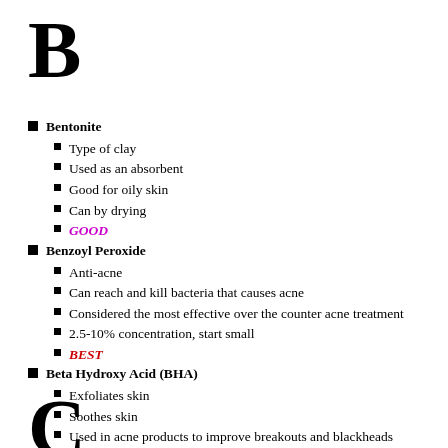B
Bentonite
Type of clay
Used as an absorbent
Good for oily skin
Can by drying
GOOD
Benzoyl Peroxide
Anti-acne
Can reach and kill bacteria that causes acne
Considered the most effective over the counter acne treatment
2.5-10% concentration, start small
BEST
Beta Hydroxy Acid (BHA)
Exfoliates skin
Soothes skin
Used in acne products to improve breakouts and blackheads
BEST
C